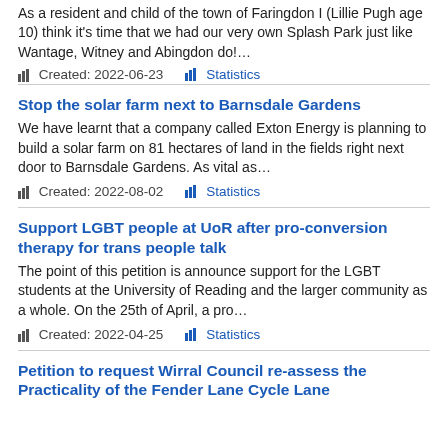As a resident and child of the town of Faringdon I (Lillie Pugh age 10) think it's time that we had our very own Splash Park just like Wantage, Witney and Abingdon do!…
Created: 2022-06-23   Statistics
Stop the solar farm next to Barnsdale Gardens
We have learnt that a company called Exton Energy is planning to build a solar farm on 81 hectares of land in the fields right next door to Barnsdale Gardens. As vital as…
Created: 2022-08-02   Statistics
Support LGBT people at UoR after pro-conversion therapy for trans people talk
The point of this petition is announce support for the LGBT students at the University of Reading and the larger community as a whole. On the 25th of April, a pro…
Created: 2022-04-25   Statistics
Petition to request Wirral Council re-assess the Practicality of the Fender Lane Cycle Lane